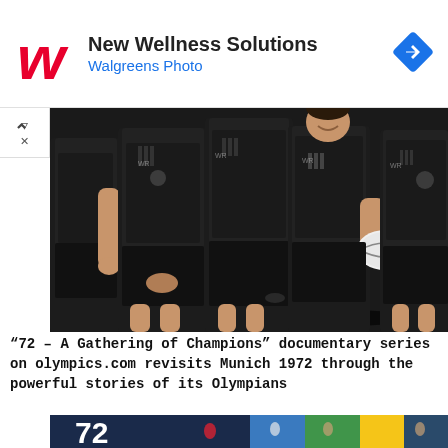[Figure (logo): Walgreens logo - red stylized W]
New Wellness Solutions
Walgreens Photo
[Figure (photo): Group of women rugby players in black All Blacks New Zealand uniforms posing for a team photo, one holding a rugby ball]
“72 – A Gathering of Champions” documentary series on olympics.com revisits Munich 1972 through the powerful stories of its Olympians
[Figure (photo): Documentary graphic for '72 - A Gathering of Champions' showing gymnasts and athletes with the number 72 and Olympic rings on a dark blue background with colored panels]